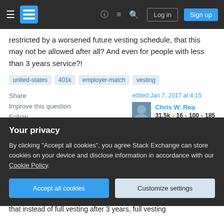Stack Exchange navigation bar with hamburger menu, logo, help, chat, search icons, Log in and Sign up buttons
restricted by a worsened future vesting schedule, that this may not be allowed after all? And even for people with less than 3 years service?!
united-states  401k  employer-match  vesting
Share
Improve this question
Follow
edited Jan 7, 2017 at 4:15
Chris W. Rea
31.5k • 16 • 100 • 185
asked Jan 6, 2017 at 23:44
Your privacy
By clicking "Accept all cookies", you agree Stack Exchange can store cookies on your device and disclose information in accordance with our Cookie Policy.
Accept all cookies  Customize settings
that instead of full vesting after 3 years, full vesting